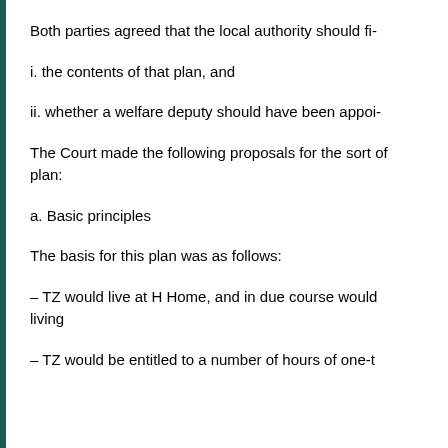Both parties agreed that the local authority should fi-
i. the contents of that plan, and
ii. whether a welfare deputy should have been appoi-
The Court made the following proposals for the sort of plan:
a. Basic principles
The basis for this plan was as follows:
– TZ would live at H Home, and in due course would living
– TZ would be entitled to a number of hours of one-t